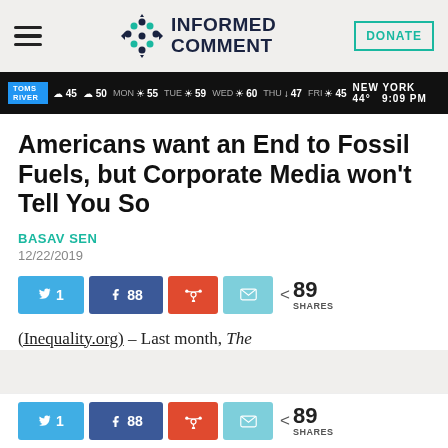INFORMED COMMENT | DONATE
[Figure (screenshot): TV weather ticker banner showing temperatures for various days: TOMS RIVER, 45, 50, 55, 59, 60, 47, 45, 44°, 9:09 PM, NEW YORK]
Americans want an End to Fossil Fuels, but Corporate Media won't Tell You So
BASAV SEN
12/22/2019
[Figure (infographic): Social share buttons: Twitter 1, Facebook 88, Reddit, Email. 89 SHARES]
(Inequality.org) – Last month, The
[Figure (infographic): Social share buttons (bottom): Twitter 1, Facebook 88, Reddit, Email. 89 SHARES]